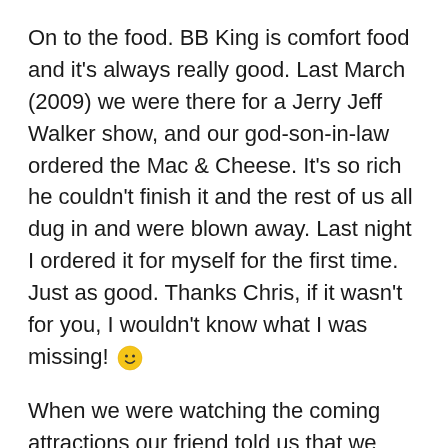On to the food. BB King is comfort food and it's always really good. Last March (2009) we were there for a Jerry Jeff Walker show, and our god-son-in-law ordered the Mac & Cheese. It's so rich he couldn't finish it and the rest of us all dug in and were blown away. Last night I ordered it for myself for the first time. Just as good. Thanks Chris, if it wasn't for you, I wouldn't know what I was missing! 🙂
When we were watching the coming attractions our friend told us that we shouldn't miss The Toasters, who will be at BB King on October 29th. Here's hoping he can make it back to NYC to join us for that show as well!